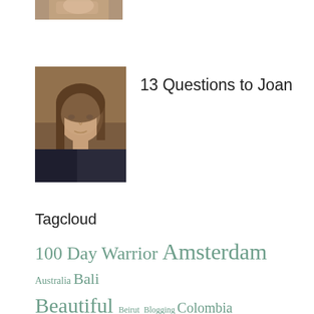[Figure (photo): Partial photo of a person, cropped at top of page]
[Figure (photo): Portrait photo of Joan, a woman with brown hair wearing a dark jacket]
13 Questions to Joan
Tagcloud
100 Day Warrior Amsterdam Australia Bali Beautiful Beirut Blogging Colombia Compassion Courage Death good Gratitude Healing Heart Honesty Hope Insight Journey